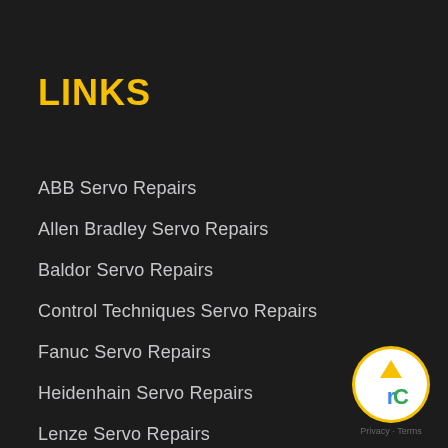LINKS
ABB Servo Repairs
Allen Bradley Servo Repairs
Baldor Servo Repairs
Control Techniques Servo Repairs
Fanuc Servo Repairs
Heidenhain Servo Repairs
Lenze Servo Repairs
NUM Servo Repairs
Pacific Scientific Servo Repairs
[Figure (logo): Google Maps / reCAPTCHA badge with yellow circle border, arrow icon pointing up, and Privacy · Terms text below]